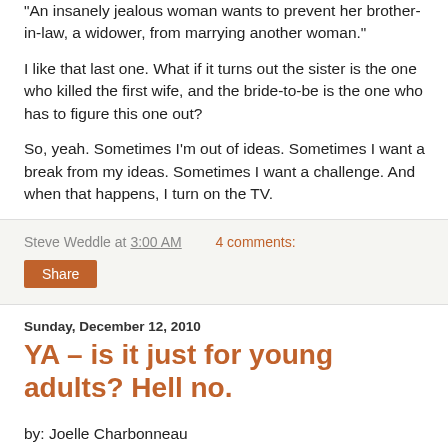"An insanely jealous woman wants to prevent her brother-in-law, a widower, from marrying another woman."
I like that last one. What if it turns out the sister is the one who killed the first wife, and the bride-to-be is the one who has to figure this one out?
So, yeah. Sometimes I'm out of ideas. Sometimes I want a break from my ideas. Sometimes I want a challenge. And when that happens, I turn on the TV.
Steve Weddle at 3:00 AM   4 comments:
Share
Sunday, December 12, 2010
YA – is it just for young adults? Hell no.
by: Joelle Charbonneau